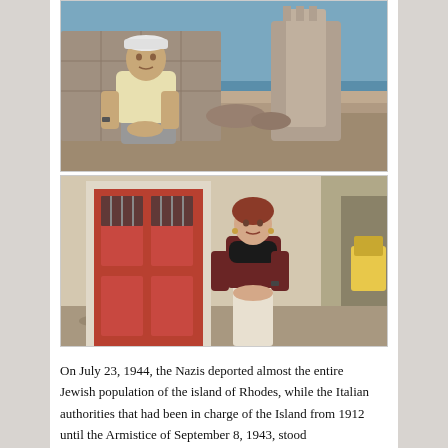[Figure (photo): An elderly man in a light yellow polo shirt and grey trousers sits leaning against a stone wall. Behind him are ancient stone fortifications and the sea is visible in the background. He wears a white cap and a watch.]
[Figure (photo): An older woman with reddish hair and a dark scarf stands next to large red double doors with ornate ironwork. She wears a dark floral top and light trousers. Behind her is a cobblestone alley leading to an archway.]
On July 23, 1944, the Nazis deported almost the entire Jewish population of the island of Rhodes, while the Italian authorities that had been in charge of the Island from 1912 until the Armistice of September 8, 1943, stood